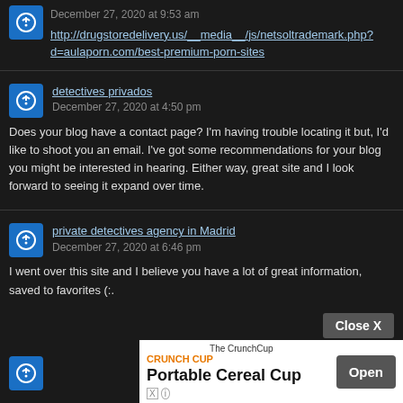http://drugstoredelivery.us/__media__/js/netsoltrademark.php?d=aulaporn.com/best-premium-porn-sites
December 27, 2020 at 9:53 am
detectives privados
December 27, 2020 at 4:50 pm
Does your blog have a contact page? I'm having trouble locating it but, I'd like to shoot you an email. I've got some recommendations for your blog you might be interested in hearing. Either way, great site and I look forward to seeing it expand over time.
private detectives agency in Madrid
December 27, 2020 at 6:46 pm
I went over this site and I believe you have a lot of great information, saved to favorites (:.
Close X
[Figure (screenshot): Advertisement banner for The CrunchCup Portable Cereal Cup with Open button]